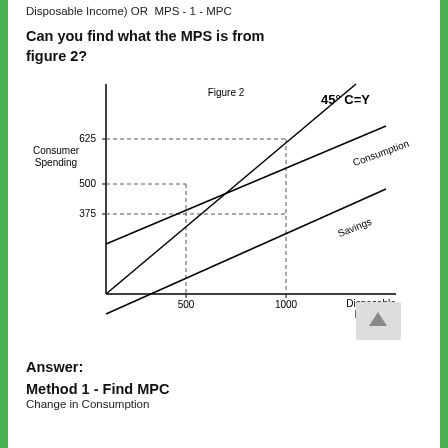Disposable Income) OR  MPS - 1 - MPC
Can you find what the MPS is from figure 2?
[Figure (continuous-plot): Figure 2: Economics diagram showing Consumer Spending on y-axis and Disposable Income on x-axis. Three lines: 45 degree C=Y line, Consumption line (shallower slope), and Savings line (even shallower). Dotted reference lines at y=625, y=500, y=375 and x=500, x=1000. Y-axis labeled Consumer Spending, X-axis labeled Disposable Income.]
Answer:
Method 1 - Find MPC
Change in Consumption